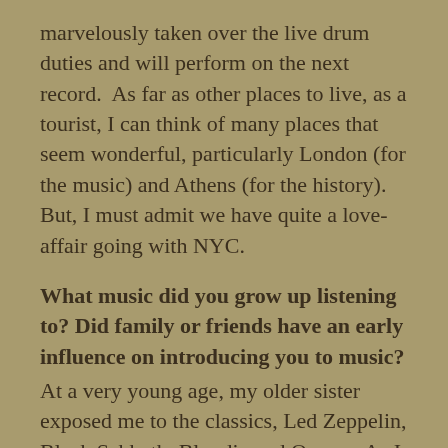marvelously taken over the live drum duties and will perform on the next record.  As far as other places to live, as a tourist, I can think of many places that seem wonderful, particularly London (for the music) and Athens (for the history).  But, I must admit we have quite a love-affair going with NYC.
What music did you grow up listening to? Did family or friends have an early influence on introducing you to music? At a very young age, my older sister exposed me to the classics, Led Zeppelin, Black Sabbath, Blondie and Queen.  As I sort of came into my own, and started to find my voice, I developed a fascination with the sounds of Duran Duran